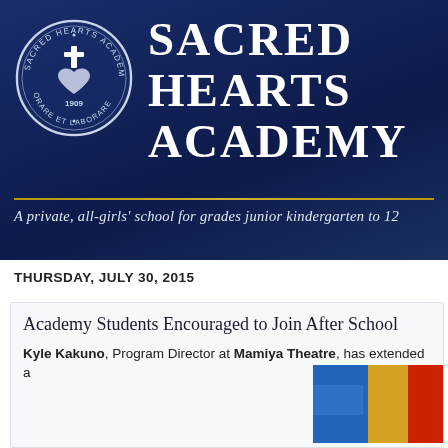[Figure (logo): Sacred Hearts Academy circular seal logo with cross and heart symbol, text reading SACRED HEARTS ACADEMY · ORARE ET LABORARE · 1909]
SACRED HEARTS ACADEMY
A private, all-girls' school for grades junior kindergarten to 12
THURSDAY, JULY 30, 2015
Academy Students Encouraged to Join After School
Kyle Kakuno, Program Director at Mamiya Theatre, has extended a
[Figure (photo): Photo showing colorful items, appears to be theatre or school related materials with blue and red colors visible]